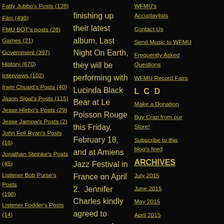Fatty Jubbo's Posts (128)
Film (496)
FMU BOT's posts (28)
Games (21)
Government (397)
History (670)
Interviews (102)
Irwin Chusid's Posts (40)
Jason Sigal's Posts (115)
Jesse Hlebo's Posts (29)
Jesse Jarnow's Posts (2)
John Fell Ryan's Posts (16)
Jonathan Steinke's Posts (45)
Listener Bob Purse's Posts (198)
Listener Fodder's Posts (14)
Listener Crog's Posts
finishing up their latest album, Last Night On Earth, they will be performing with Lucinda Black Bear at Le Poisson Rouge this Friday, February 18, and at Amiens Jazz Festival in France on April 2.  Jennifer Charles kindly agreed to answer a slew of personal questions that puts the band's music into a more multidimensional perspective, allowing a brief look into the inspiration incorporated into
WFMU's Accuplaylists
Contact Us
Send Music to WFMU
Frequently Asked Questions
WFMU Record Fairs
L C D
Make a Donation
Buy Crap from our Store!
Subscribe to this blog's feed
ARCHIVES
July 2015
June 2015
May 2015
April 2015
March 2015